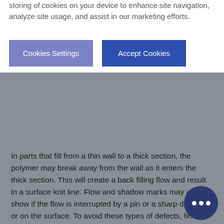storing of cookies on your device to enhance site navigation, analyze site usage, and assist in our marketing efforts.
Cookies Settings
Accept Cookies
In parts that fill from a thin wall to a thick section, the polymer may break away from the wall as it enters the thick section. This will create a back filling flow and result in a surface knit line. Flow and shadow marks may also show if the flow is interrupted by a pin or a sharp dimple in or on the surface. To avoid these types of defects, find the radius of transition zones and corners in your mold. Defects like these may be minimized by using a textured or matte surfaced tool